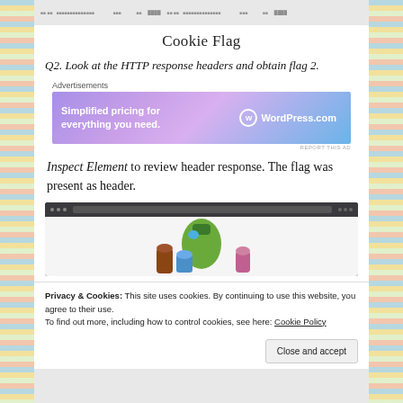[Figure (screenshot): Top strip showing a partially visible table/spreadsheet screenshot]
Cookie Flag
Q2. Look at the HTTP response headers and obtain flag 2.
[Figure (screenshot): WordPress.com advertisement banner: 'Simplified pricing for everything you need.']
Inspect Element to review header response. The flag was present as header.
[Figure (screenshot): Browser screenshot showing a webpage with illustrated characters]
Privacy & Cookies: This site uses cookies. By continuing to use this website, you agree to their use. To find out more, including how to control cookies, see here: Cookie Policy
Close and accept